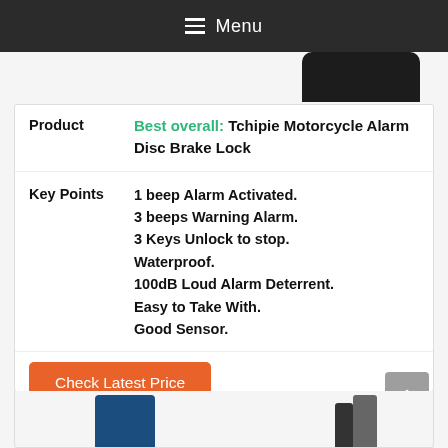Menu
|  |  |
| --- | --- |
| Product | Best overall: Tchipie Motorcycle Alarm Disc Brake Lock |
| Key Points | 1 beep Alarm Activated.
3 beeps Warning Alarm.
3 Keys Unlock to stop.
Waterproof.
100dB Loud Alarm Deterrent.
Easy to Take With.
Good Sensor. |
Check Latest Price